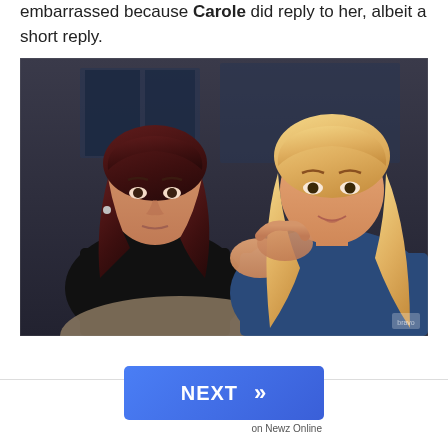embarrassed because Carole did reply to her, albeit a short reply.
[Figure (photo): Two women seated together. On the left, a woman with dark reddish-brown hair wearing a black outfit, looking straight ahead with a neutral expression. On the right, a woman with long blonde wavy hair wearing a blue off-shoulder top, gesturing with one hand and appearing to speak.]
NEXT  »  on Newz Online